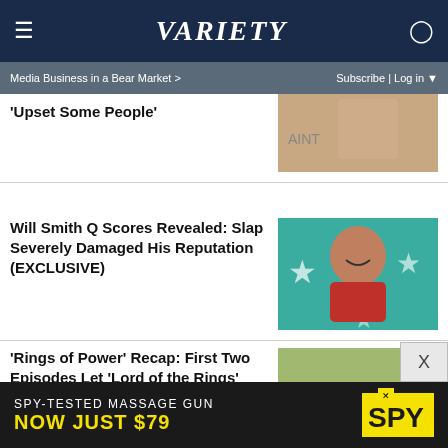VARIETY
Media Business in a Bear Market > Subscribe | Log in
Upset Some People'
Will Smith Q Scores Revealed: Slap Severely Damaged His Reputation (EXCLUSIVE)
'Rings of Power' Recap: First Two Episodes Let 'Lord of the Rings' Fans Breathe a Sigh of Relief
SPY-TESTED MASSAGE GUN NOW JUST $79 SPY